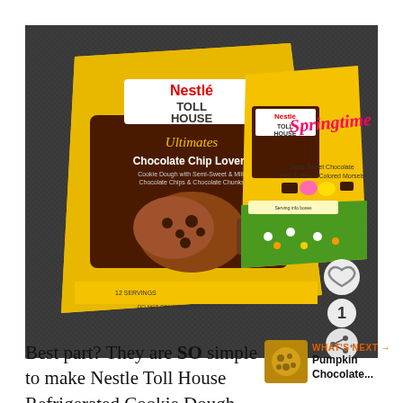[Figure (photo): Two Nestle Toll House product packages on a dark woven surface: left is Toll House Ultimates Chocolate Chip Lovers cookie dough in yellow and brown packaging; right is Toll House Springtime Semi-Sweet Chocolate Pink & Yellow Morsels in yellow and green packaging. A heart (favorite) icon and share icon are visible in the bottom right corner of the image, along with the number 1.]
Best part? They are SO simple to make Nestle Toll House Refrigerated Cookie Dough.